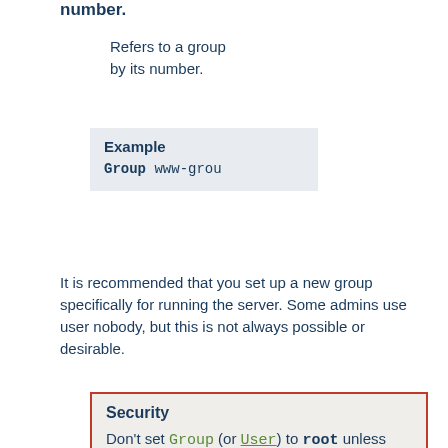number.
Refers to a group by its number.
Example
Group www-grou
It is recommended that you set up a new group specifically for running the server. Some admins use user nobody, but this is not always possible or desirable.
Security
Don't set Group (or User) to root unless you know exactly what you are doing, and what the dangers are.